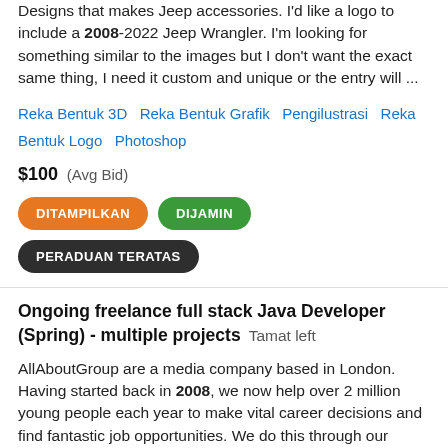Designs that makes Jeep accessories. I'd like a logo to include a 2008-2022 Jeep Wrangler. I'm looking for something similar to the images but I don't want the exact same thing, I need it custom and unique or the entry will …
Reka Bentuk 3D   Reka Bentuk Grafik   Pengilustrasi   Reka Bentuk Logo   Photoshop
$100  (Avg Bid)
DITAMPILKAN   DIJAMIN   PERADUAN TERATAS
Ongoing freelance full stack Java Developer (Spring) - multiple projects   Tamat left
AllAboutGroup are a media company based in London. Having started back in 2008, we now help over 2 million young people each year to make vital career decisions and find fantastic job opportunities. We do this through our careers advice and job websites for young people. We ar…
HTML   Java   Java Spring   JavaScript   jQuery